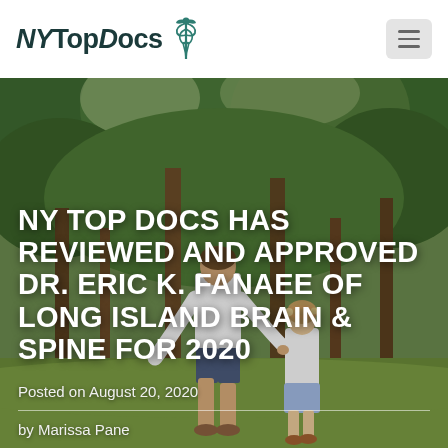NY TopDocs
[Figure (photo): A man and a young girl walking through a park with large green trees, viewed from behind. The man wears a white t-shirt and shorts; the girl wears a white top and a floral headband. They appear to be holding hands.]
NY TOP DOCS HAS REVIEWED AND APPROVED DR. ERIC K. FANAEE OF LONG ISLAND BRAIN & SPINE FOR 2020
Posted on August 20, 2020
by Marissa Pane